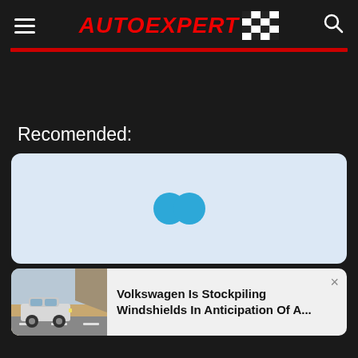AUTOEXPERT
Recomended:
[Figure (other): Advertisement placeholder with teal infinity/loading symbol on light blue background]
[Figure (photo): Volkswagen car driving on road with cliffs in background]
Volkswagen Is Stockpiling Windshields In Anticipation Of A...